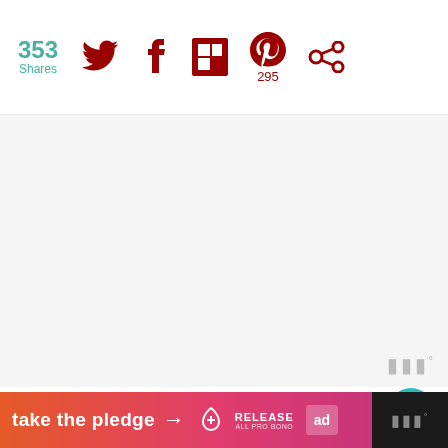353 Shares
[Figure (screenshot): Social sharing bar with Twitter, Facebook, Flipboard, Pinterest (295), and another sharing icon]
[Figure (screenshot): Advertisement/ad placeholder area with watermark icons]
Pasta Suggestions
1. baby shells
2. bowties
3. spirals
4.
5.
[Figure (screenshot): What's Next card: Baked Pork Chop and...]
[Figure (infographic): Bottom ad banner: take the pledge arrow RELEASE ad badge with dark right section watermark]